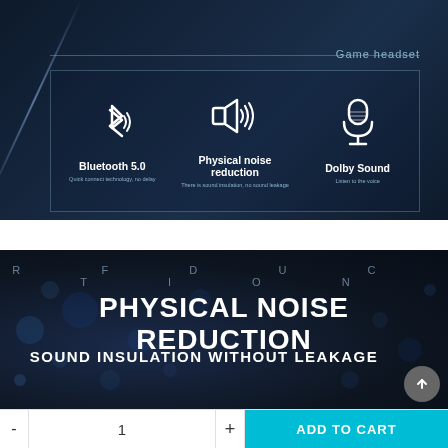[Figure (infographic): Dark blue gaming headset product image showing three feature icons in a bordered box: Bluetooth 5.0 with icon and subtitle 'Quick connect technology, no delay', Physical noise reduction with speaker icon and subtitle 'There is sound insulation, no sound leakage', Dolby Sound with microphone icon and subtitle 'Listen to the voice'. 'Game headset' label in top right corner.]
[Figure (infographic): Dark bokeh background with large bold text 'PHYSICAL NOISE REDUCTION' and below it 'SOUND INSULATION WITHOUT LEAKAGE'. Faint letter watermark 'R E D U C T I O N' visible at top.]
- 1 + ADD TO CART